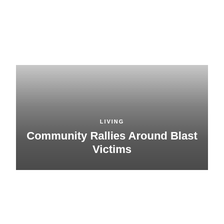LIVING
Community Rallies Around Blast Victims